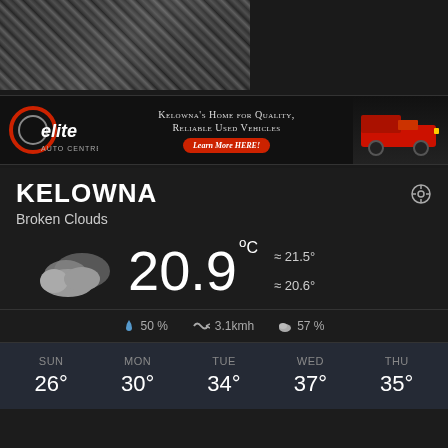[Figure (photo): Crowd/event photo, dark and blurry, upper left corner]
[Figure (infographic): Elite Auto Centre advertisement banner: logo on left, tagline 'Kelowna's Home for Quality, Reliable Used Vehicles', red Learn More HERE! button, red truck on right]
KELOWNA
Broken Clouds
[Figure (infographic): Weather display: broken clouds icon, temperature 20.9°C, high 21.5°, low 20.6°, precipitation 50%, wind 3.1kmh, cloud cover 57%]
| SUN | MON | TUE | WED | THU |
| --- | --- | --- | --- | --- |
| 26° | 30° | 34° | 37° | 35° |